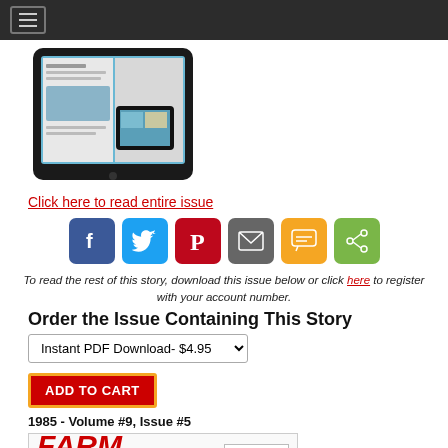Navigation bar with hamburger menu
[Figure (photo): Tablet device showing magazine pages displayed digitally]
Click here to read entire issue
[Figure (infographic): Social share buttons: Facebook, Twitter, Pinterest, Email, SMS, Share]
To read the rest of this story, download this issue below or click here to register with your account number.
Order the Issue Containing This Story
Instant PDF Download- $4.95 (dropdown selector)
ADD TO CART
1985 - Volume #9, Issue #5
[Figure (photo): Farm Choice magazine cover thumbnail]